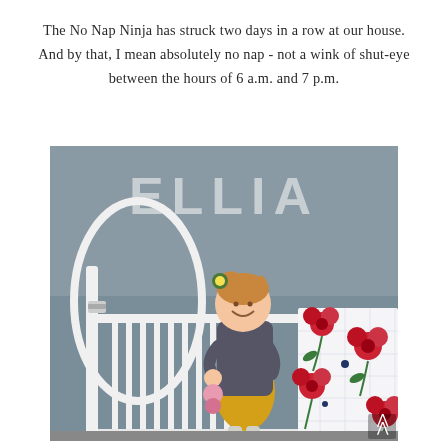The No Nap Ninja has struck two days in a row at our house. And by that, I mean absolutely no nap - not a wink of shut-eye between the hours of 6 a.m. and 7 p.m.
[Figure (photo): A toddler girl standing in a white crib, smiling. She is wearing a yellow dress and gray top, with a floral hair accessory. Large block letters spelling ELLIA are mounted on the gray wall behind her. A floral blanket with red poppy flowers hangs over the crib rail on the right side.]